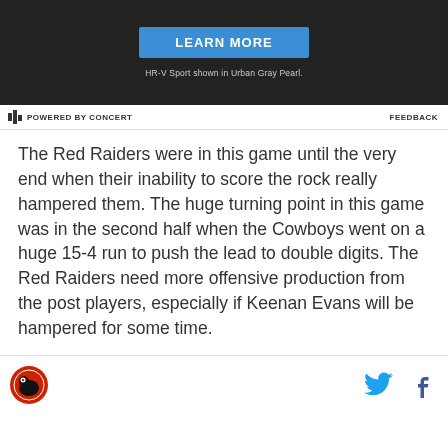[Figure (other): Dark advertisement banner with a blue 'LEARN MORE' button and caption text 'HR-V Sport shown in Urban Gray Pearl.']
POWERED BY CONCERT     FEEDBACK
The Red Raiders were in this game until the very end when their inability to score the rock really hampered them. The huge turning point in this game was in the second half when the Cowboys went on a huge 15-4 run to push the lead to double digits. The Red Raiders need more offensive production from the post players, especially if Keenan Evans will be hampered for some time.
[Figure (logo): Red Raiders logo circle in footer left, and Twitter bird icon and Facebook 'f' icon on the right]